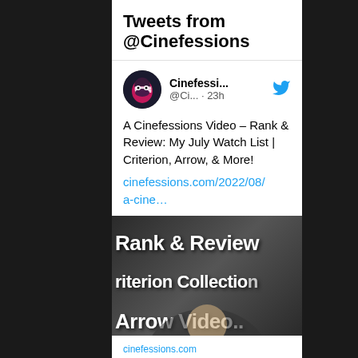Tweets from @Cinefessions
Cinefessi... @Ci... · 23h
A Cinefessions Video – Rank & Review: My July Watch List | Criterion, Arrow, & More!
cinefessions.com/2022/08/a-cine…
[Figure (screenshot): Video thumbnail showing text 'Rank & Review', 'riterion Collection', 'Arrow Video..' with a man in black shirt holding items in front of a shelf]
cinefessions.com
A Cinefessions Video – Rank & Review: My July